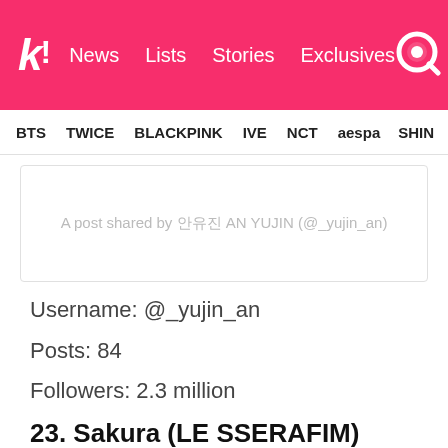k! News  Lists  Stories  Exclusives
BTS  TWICE  BLACKPINK  IVE  NCT  aespa  SHIN
A post shared by 안유진 AN YUJIN (@_yujin_an)
Username: @_yujin_an
Posts: 84
Followers: 2.3 million
23. Sakura (LE SSERAFIM)